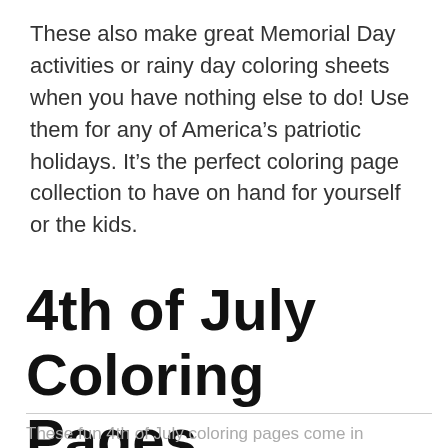These also make great Memorial Day activities or rainy day coloring sheets when you have nothing else to do! Use them for any of America's patriotic holidays. It's the perfect coloring page collection to have on hand for yourself or the kids.
4th of July Coloring Pages
These fun 4th of July coloring pages come in